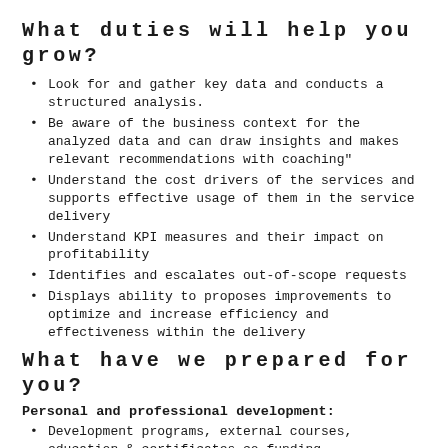What duties will help you grow?
Look for and gather key data and conducts a structured analysis.
Be aware of the business context for the analyzed data and can draw insights and makes relevant recommendations with coaching"
Understand the cost drivers of the services and supports effective usage of them in the service delivery
Understand KPI measures and their impact on profitability
Identifies and escalates out-of-scope requests
Displays ability to proposes improvements to optimize and increase efficiency and effectiveness within the delivery
What have we prepared for you?
Personal and professional development:
Development programs, external courses, education & certificates co-funding
NEXT platform with free access to Pluralsight,